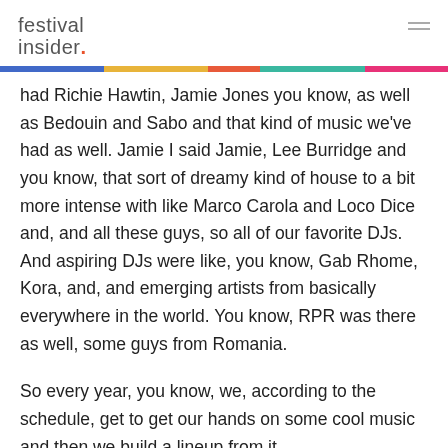festival insider.
had Richie Hawtin, Jamie Jones you know, as well as Bedouin and Sabo and that kind of music we've had as well. Jamie I said Jamie, Lee Burridge and you know, that sort of dreamy kind of house to a bit more intense with like Marco Carola and Loco Dice and, and all these guys, so all of our favorite DJs. And aspiring DJs were like, you know, Gab Rhome, Kora, and, and emerging artists from basically everywhere in the world. You know, RPR was there as well, some guys from Romania.
So every year, you know, we, according to the schedule, get to get our hands on some cool music and then we build a lineup from it.